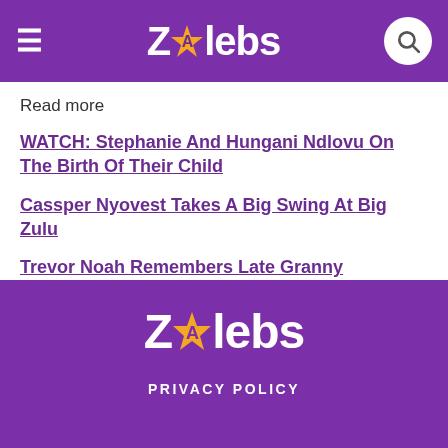ZAlebs
Read more
WATCH: Stephanie And Hungani Ndlovu On The Birth Of Their Child
Cassper Nyovest Takes A Big Swing At Big Zulu
Trevor Noah Remembers Late Granny
SHARE
ZAlebs PRIVACY POLICY